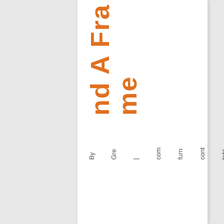nd A Frame
By Greg | com furn cont tabl dini tabl | One